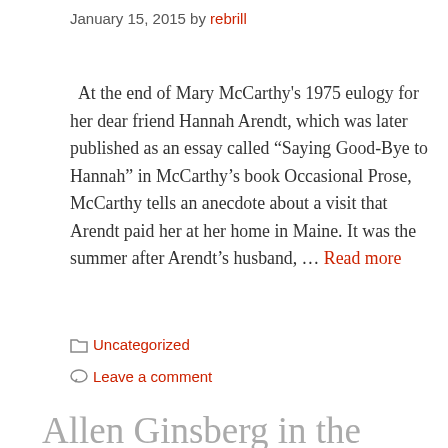January 15, 2015 by rebrill
At the end of Mary McCarthy's 1975 eulogy for her dear friend Hannah Arendt, which was later published as an essay called “Saying Good-Bye to Hannah” in McCarthy’s book Occasional Prose, McCarthy tells an anecdote about a visit that Arendt paid her at her home in Maine. It was the summer after Arendt’s husband, … Read more
Uncategorized
Leave a comment
Allen Ginsberg in the 1940s: The